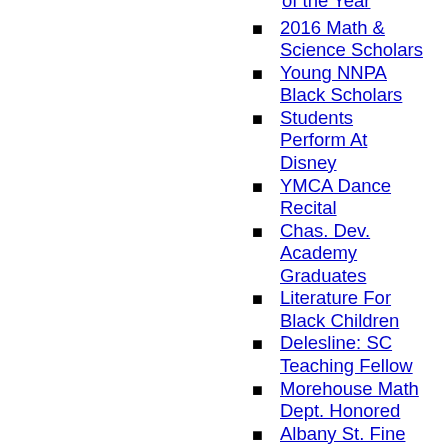of the Year
2016 Math & Science Scholars
Young NNPA Black Scholars
Students Perform At Disney
YMCA Dance Recital
Chas. Dev. Academy Graduates
Literature For Black Children
Delesline: SC Teaching Fellow
Morehouse Math Dept. Honored
Albany St. Fine Arts Center
SCSU Grad Named SCDSS Director
St. John's HS Teacher Honored